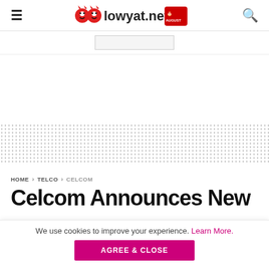lowyat.net — navigation header with hamburger menu, logo, and search icon
[Figure (screenshot): Advertisement placeholder box]
[Figure (illustration): Dotted pattern decorative band]
HOME › TELCO › CELCOM
Celcom Announces New
We use cookies to improve your experience. Learn More.
AGREE & CLOSE